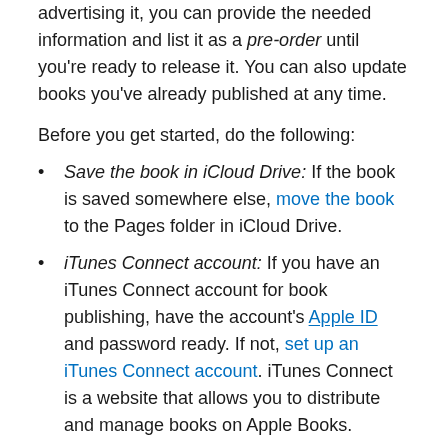advertising it, you can provide the needed information and list it as a pre-order until you're ready to release it. You can also update books you've already published at any time.
Before you get started, do the following:
Save the book in iCloud Drive: If the book is saved somewhere else, move the book to the Pages folder in iCloud Drive.
iTunes Connect account: If you have an iTunes Connect account for book publishing, have the account's Apple ID and password ready. If not, set up an iTunes Connect account. iTunes Connect is a website that allows you to distribute and manage books on Apple Books.
Table of contents: Most books need to include a